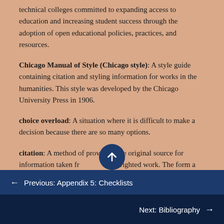technical colleges committed to expanding access to education and increasing student success through the adoption of open educational policies, practices, and resources.
Chicago Manual of Style (Chicago style): A style guide containing citation and styling information for works in the humanities. This style was developed by the Chicago University Press in 1906.
choice overload: A situation where it is difficult to make a decision because there are so many options.
citation: A method of providing the original source for information taken from a copyrighted work. The form a citation takes is generally determined by the
← Previous: Appendix 5: Checklists
Next: Bibliography →